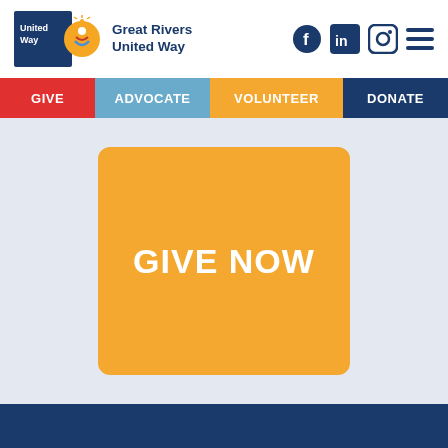United Way Great Rivers United Way
GIVE
ADVOCATE
VOLUNTEER
DONATE
GIVE NOW